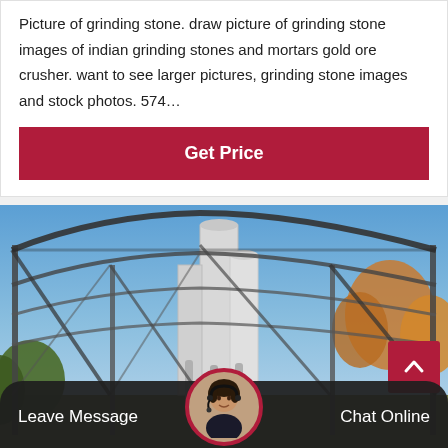Picture of grinding stone. draw picture of grinding stone images of indian grinding stones and mortars gold ore crusher. want to see larger pictures, grinding stone images and stock photos. 574…
Get Price
[Figure (photo): Industrial facility photo showing a metal frame structure/scaffolding with large industrial silos/chimneys in the background against a blue sky, with trees visible on the right side.]
Leave Message
Chat Online